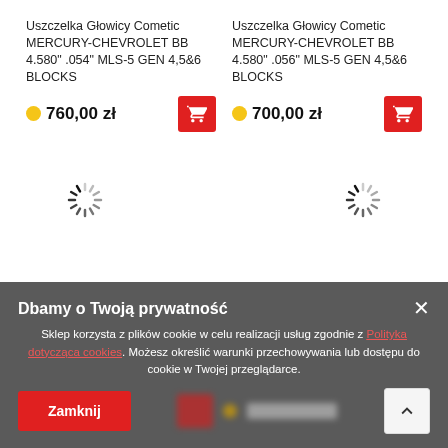Uszczelka Głowicy Cometic MERCURY-CHEVROLET BB 4.580" .054" MLS-5 GEN 4,5&6 BLOCKS
760,00 zł
Uszczelka Głowicy Cometic MERCURY-CHEVROLET BB 4.580" .056" MLS-5 GEN 4,5&6 BLOCKS
700,00 zł
[Figure (other): Loading spinner icons (two gray radial spinners indicating content loading)]
Dbamy o Twoją prywatność
Sklep korzysta z plików cookie w celu realizacji usług zgodnie z Polityka dotycząca cookies. Możesz określić warunki przechowywania lub dostępu do cookie w Twojej przeglądarce.
Zamknij